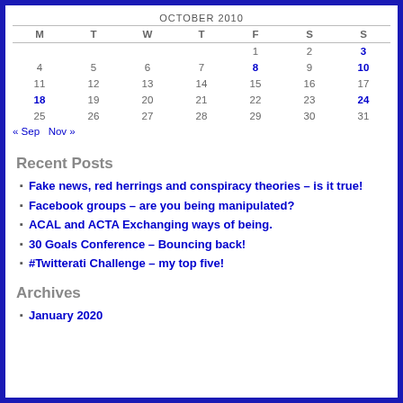| M | T | W | T | F | S | S |
| --- | --- | --- | --- | --- | --- | --- |
|  |  |  |  | 1 | 2 | 3 |
| 4 | 5 | 6 | 7 | 8 | 9 | 10 |
| 11 | 12 | 13 | 14 | 15 | 16 | 17 |
| 18 | 19 | 20 | 21 | 22 | 23 | 24 |
| 25 | 26 | 27 | 28 | 29 | 30 | 31 |
« Sep   Nov »
Recent Posts
Fake news, red herrings and conspiracy theories – is it true!
Facebook groups – are you being manipulated?
ACAL and ACTA Exchanging ways of being.
30 Goals Conference – Bouncing back!
#Twitterati Challenge – my top five!
Archives
January 2020